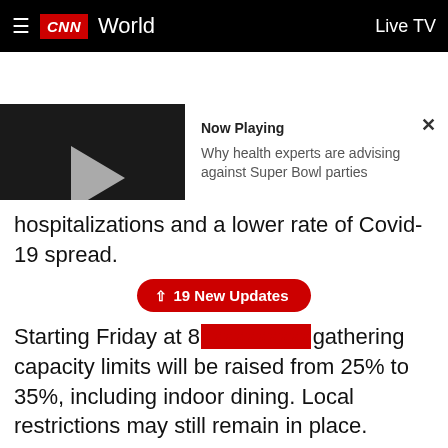CNN World — Live TV
[Figure (screenshot): CNN video player showing 'Now Playing: Why health experts are advising against Super Bowl parties' with a play button on dark background and an X close button]
hospitalizations and a lower rate of Covid-19 spread.
19 New Updates
Starting Friday at 8[...] gathering capacity limits will be raised from 25% to 35%, including indoor dining. Local restrictions may still remain in place.
The prohibition on indoor bar seating will still remain in effect, the governor said during a news conference Wednesday.
New Jersey is the only state that has not walked back its indoor dining capacity limits once implemented, according to Murphy. Indoor dining has been capped at